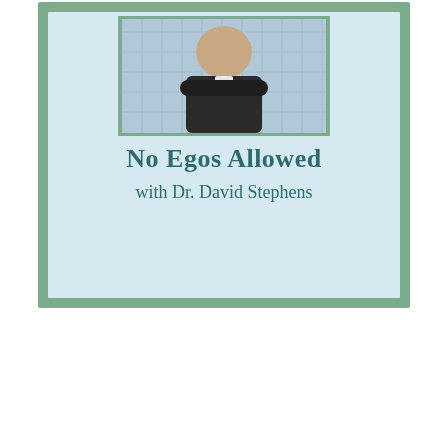[Figure (illustration): Podcast or book cover image showing a man in a dark jacket seated outdoors with a lattice/grid background, on a light blue background with a sage green border. The cover reads 'No Egos Allowed with Dr. David Stephens' in teal/dark teal text.]